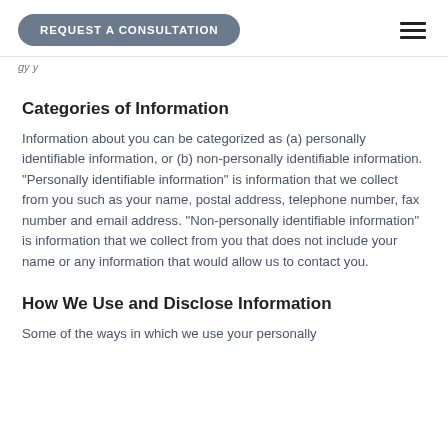REQUEST A CONSULTATION
gy y
Categories of Information
Information about you can be categorized as (a) personally identifiable information, or (b) non-personally identifiable information. "Personally identifiable information" is information that we collect from you such as your name, postal address, telephone number, fax number and email address. "Non-personally identifiable information" is information that we collect from you that does not include your name or any information that would allow us to contact you.
How We Use and Disclose Information
Some of the ways in which we use your personally